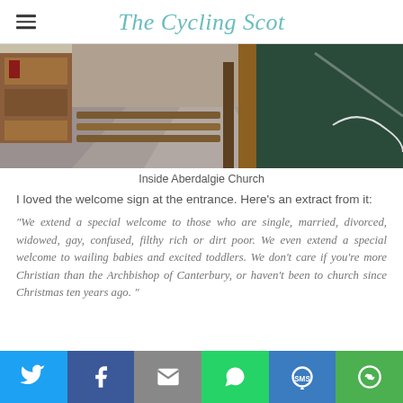The Cycling Scot
[Figure (photo): Interior photo of Aberdalgie Church showing wooden pews and aisles]
Inside Aberdalgie Church
I loved the welcome sign at the entrance. Here's an extract from it:
"We extend a special welcome to those who are single, married, divorced, widowed, gay, confused, filthy rich or dirt poor. We even extend a special welcome to wailing babies and excited toddlers. We don't care if you're more Christian than the Archbishop of Canterbury, or haven't been to church since Christmas ten years ago. "